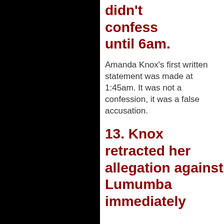didn't confess until 6am.
Amanda Knox's first written statement was made at 1:45am. It was not a confession, it was a false accusation.
13. Knox retracted her allegation against Lumumba immediately